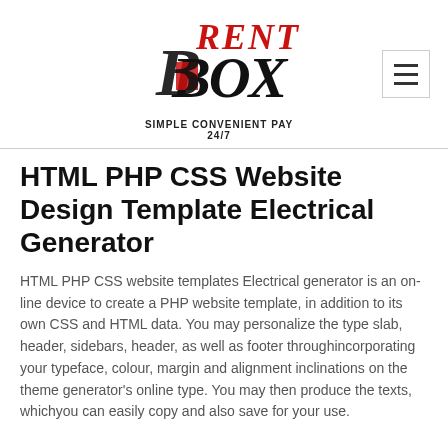[Figure (logo): RentBox logo with stylized text 'RENT BOX' in black and red, with tagline 'Simple Convenient Pay 24/7']
HTML PHP CSS Website Design Template Electrical Generator
HTML PHP CSS website templates Electrical generator is an on-line device to create a PHP website template, in addition to its own CSS and HTML data. You may personalize the type slab, header, sidebars, header, as well as footer throughincorporating your typeface, colour, margin and alignment inclinations on the theme generator's online type. You may then produce the texts, whichyou can easily copy and also save for your use.